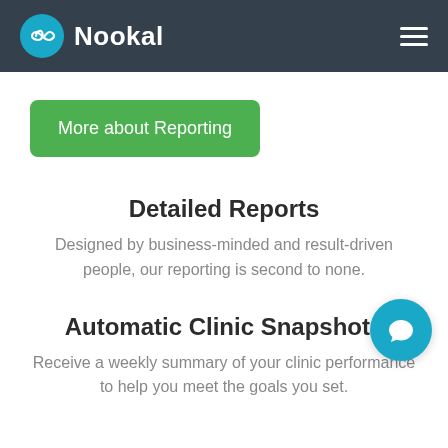Nookal
More about Reporting
Detailed Reports
Designed by business-minded and result-driven people, our reporting is second to none.
Automatic Clinic Snapshots
Receive a weekly summary of your clinic performance to help you meet the goals you set.